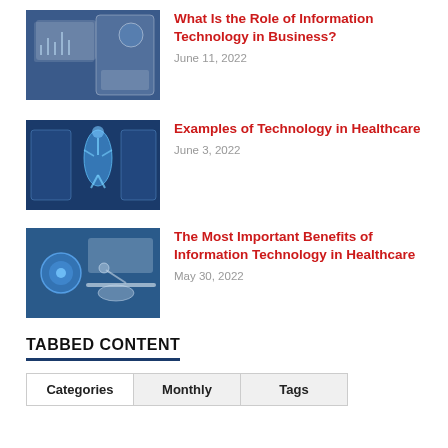[Figure (photo): Person using a digital tablet with business/data analytics graphics overlay]
What Is the Role of Information Technology in Business?
June 11, 2022
[Figure (photo): Healthcare technology — blue digital human body scan with doctor using tablet]
Examples of Technology in Healthcare
June 3, 2022
[Figure (photo): Healthcare IT — glowing blue orb with stethoscope and medical instruments]
The Most Important Benefits of Information Technology in Healthcare
May 30, 2022
TABBED CONTENT
| Categories | Monthly | Tags |
| --- | --- | --- |